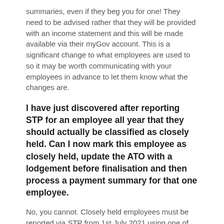summaries, even if they beg you for one! They need to be advised rather that they will be provided with an income statement and this will be made  available via their myGov account. This is a significant change to what employees are used to so it may be worth communicating with your employees in advance to let them know what the changes are.
I have just discovered after reporting STP for an employee all year that they should actually be classified as closely held. Can I now mark this employee as closely held, update the ATO with a lodgement before finalisation and then process a payment summary for that one employee.
No, you cannot. Closely held employees must be reported via STP from 1st July 2021 using one of the methods